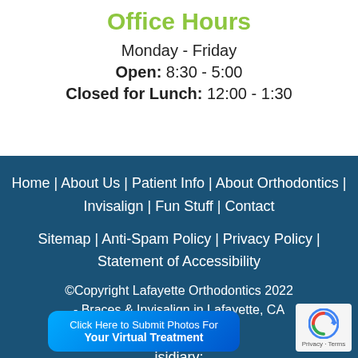Office Hours
Monday - Friday
Open: 8:30 - 5:00
Closed for Lunch: 12:00 - 1:30
Home | About Us | Patient Info | About Orthodontics | Invisalign | Fun Stuff | Contact
Sitemap | Anti-Spam Policy | Privacy Policy | Statement of Accessibility
©Copyright Lafayette Orthodontics 2022 - Braces & Invisalign in Lafayette, CA
oscope™
isidiary:
[Figure (other): reCAPTCHA badge with privacy and terms links]
Click Here to Submit Photos For Your Virtual Treatment